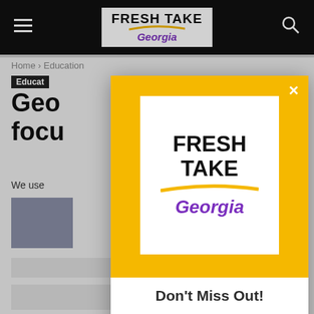[Figure (screenshot): Fresh Take Georgia website screenshot with navigation bar showing hamburger menu, Fresh Take Georgia logo, and search icon on black background]
Home › Education
Educat...
Geo... focu...
We use
[Figure (photo): Gray image block placeholder]
[Figure (logo): Fresh Take Georgia modal popup with yellow background showing Fresh Take Georgia logo, Don't Miss Out heading, Know when we publish a new story or post a new podcast! text, and Click the notification bell ... call to action]
Don't Miss Out!
Know when we publish a new story or post a new podcast!
► Click the notification bell ...